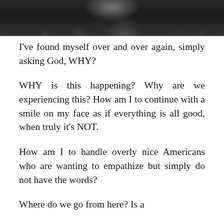[Figure (photo): Black and white photo of a crowd of people, cropped to show upper portion at top of page]
I've found myself over and over again, simply asking God, WHY?
WHY is this happening? Why are we experiencing this? How am I to continue with a smile on my face as if everything is all good, when truly it's NOT.
How am I to handle overly nice Americans who are wanting to empathize but simply do not have the words?
Where do we go from here? Is a